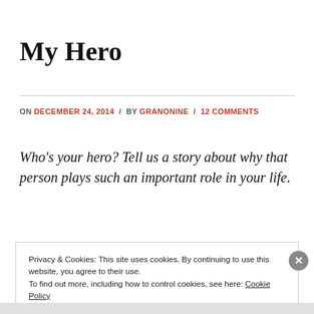My Hero
ON DECEMBER 24, 2014 / BY GRANONINE / 12 COMMENTS
Who's your hero? Tell us a story about why that person plays such an important role in your life.
Privacy & Cookies: This site uses cookies. By continuing to use this website, you agree to their use. To find out more, including how to control cookies, see here: Cookie Policy Close and accept